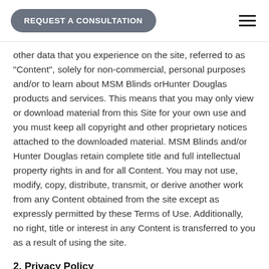REQUEST A CONSULTATION
other data that you experience on the site, referred to as "Content", solely for non-commercial, personal purposes and/or to learn about MSM Blinds orHunter Douglas products and services. This means that you may only view or download material from this Site for your own use and you must keep all copyright and other proprietary notices attached to the downloaded material. MSM Blinds and/or Hunter Douglas retain complete title and full intellectual property rights in and for all Content. You may not use, modify, copy, distribute, transmit, or derive another work from any Content obtained from the site except as expressly permitted by these Terms of Use. Additionally, no right, title or interest in any Content is transferred to you as a result of using the site.
2. Privacy Policy
MSM Blinds and Hunter Douglas respect your privacy